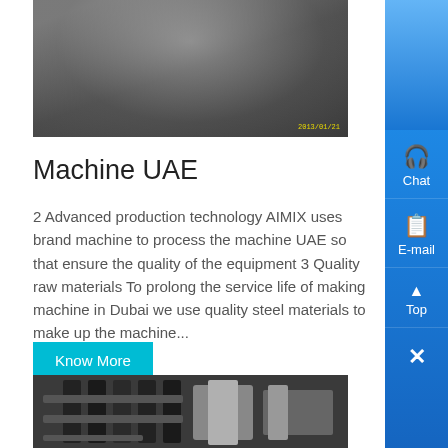[Figure (photo): Outdoor industrial/mining scene with fog or dust, quarry or construction site, dark and grey tones with timestamp overlay]
Machine UAE
2 Advanced production technology AIMIX uses brand machine to process the machine UAE so that ensure the quality of the equipment 3 Quality raw materials To prolong the service life of making machine in Dubai we use quality steel materials to make up the machine...
Know More
[Figure (photo): Close-up of industrial machine parts, dark metal components including belts/pulleys and blades]